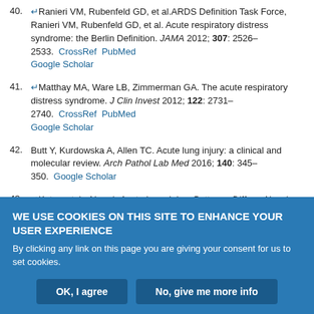40. Ranieri VM, Rubenfeld GD, et al.ARDS Definition Task Force, Ranieri VM, Rubenfeld GD, et al. Acute respiratory distress syndrome: the Berlin Definition. JAMA 2012; 307: 2526–2533. CrossRef PubMed Google Scholar
41. Matthay MA, Ware LB, Zimmerman GA. The acute respiratory distress syndrome. J Clin Invest 2012; 122: 2731–2740. CrossRef PubMed Google Scholar
42. Butt Y, Kurdowska A, Allen TC. Acute lung injury: a clinical and molecular review. Arch Pathol Lab Med 2016; 140: 345–350. Google Scholar
43. Katzenstein AL, ed. Acute Lung Injury Patterns: Diffuse Alveolar Damage and Bronchitis Obliterans Organizing Pneumonia. 4th Edn. Philadelphia, Saunders Elsevier, 2006. Google Scholar
WE USE COOKIES ON THIS SITE TO ENHANCE YOUR USER EXPERIENCE
By clicking any link on this page you are giving your consent for us to set cookies.
OK, I agree    No, give me more info